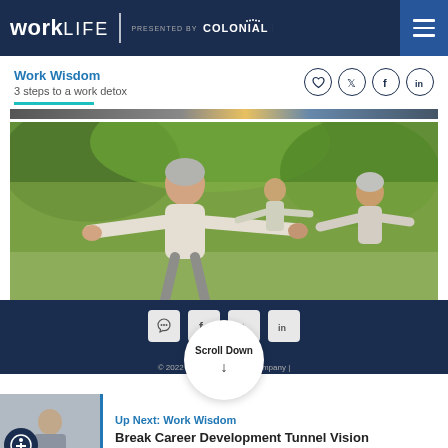workLIFE | PRESENTED BY Colonial Life
Work Wisdom
3 steps to a work detox
[Figure (photo): Elderly people doing outdoor exercise/yoga in a garden setting]
Scroll Down
© 2022 Colonial Life & Accident Insurance Company |
Up Next:  Work Wisdom
Break Career Development Tunnel Vision